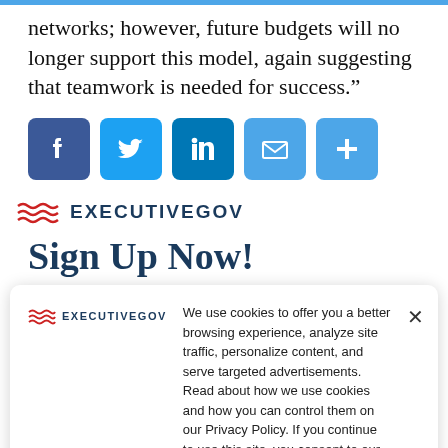networks; however, future budgets will no longer support this model, again suggesting that teamwork is needed for success.”
[Figure (other): Social media sharing icons: Facebook, Twitter, LinkedIn, Email, and a plus/more button]
[Figure (logo): ExecutiveGov logo with red wave icon and text EXECUTIVEGOV]
Sign Up Now!
We use cookies to offer you a better browsing experience, analyze site traffic, personalize content, and serve targeted advertisements. Read about how we use cookies and how you can control them on our Privacy Policy. If you continue to use this site, you consent to our use of cookies.
News Briefings about